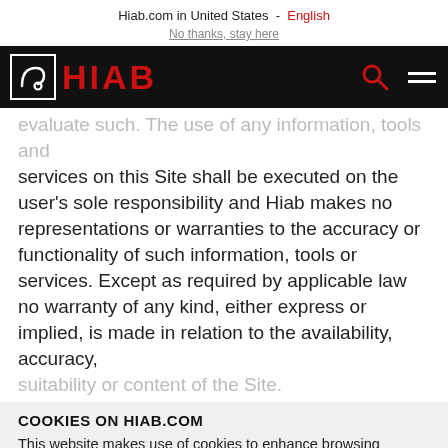Hiab.com in United States - English
No thanks, stay here
[Figure (logo): HIAB logo with stylized crane icon in white border box, red HIAB text, on black navigation bar with red search icon and white hamburger menu]
evaluate such. The use of any information, tools and services on this Site shall be executed on the user's sole responsibility and Hiab makes no representations or warranties to the accuracy or functionality of such information, tools or services. Except as required by applicable law no warranty of any kind, either express or implied, is made in relation to the availability, accuracy, suitability or content of the Site.
COOKIES ON HIAB.COM
This website makes use of cookies to enhance browsing experience and provide additional functionality.
CONTINUE